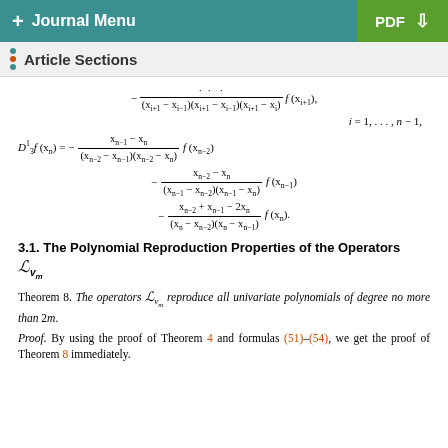+ Journal Menu | PDF
Article Sections
3.1. The Polynomial Reproduction Properties of the Operators L_{v_m}
Theorem 8. The operators L_{v_m} reproduce all univariate polynomials of degree no more than 2m.
Proof. By using the proof of Theorem 4 and formulas (51)–(54), we get the proof of Theorem 8 immediately.